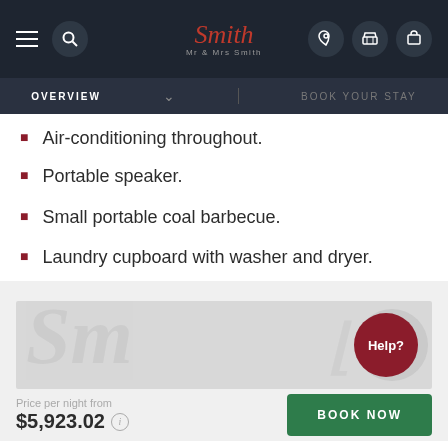Mr & Mrs Smith — Navigation header
OVERVIEW  BOOK YOUR STAY
Air-conditioning throughout.
Portable speaker.
Small portable coal barbecue.
Laundry cupboard with washer and dryer.
[Figure (other): Decorative watermark image area with 'Help?' button overlay]
Price per night from
$5,923.02
BOOK NOW